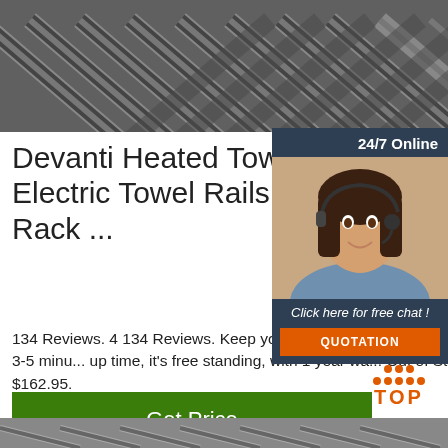[Figure (photo): Close-up photo of stacked metal angle iron bars with chevron/herringbone pattern]
Devanti Heated Towel R... Electric Towel Rails Tow... Rack ...
[Figure (infographic): Chat widget with 24/7 Online header, agent photo, 'Click here for free chat!' link, and QUOTATION button]
134 Reviews. 4 134 Reviews. Keep your... dry for when you need them with this he... rack. Featuring 6 heated rods & 3-5 minu... up time, it's free standing, with 1 year wa... Out of Stock! Price. $69.95. WAS Was p... applied. RRP $162.95.
[Figure (logo): TOP badge with orange dots and orange TOP text]
[Figure (photo): Partial photo at bottom of page showing metal rods/pipes]
Get Price